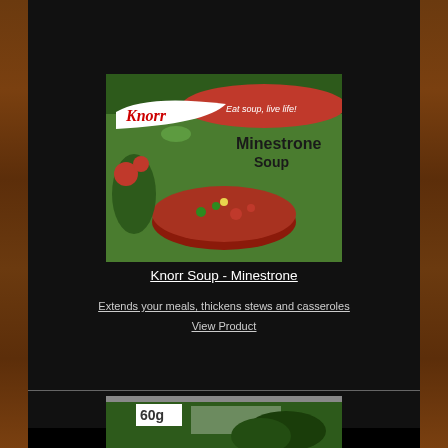[Figure (photo): Knorr Minestrone Soup packet with green packaging, showing a bowl of red soup with vegetables and the Knorr logo]
Knorr Soup - Minestrone
Extends your meals, thickens stews and casseroles
View Product
[Figure (photo): Partial view of another Knorr soup product packet showing 60g label, partially cut off at bottom of page]